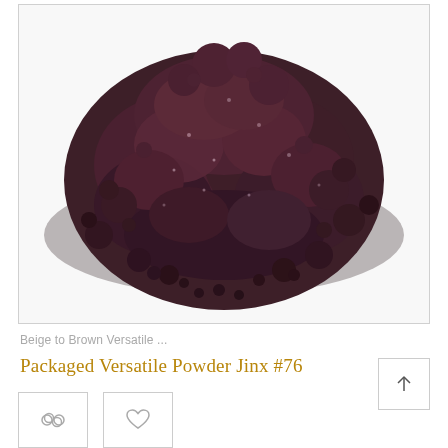[Figure (photo): Close-up photo of dark reddish-brown/purple granular cosmetic powder (Jinx #76) piled on a white background, showing chunky mineral pigment texture with slight shimmer.]
Beige to Brown Versatile ...
Packaged Versatile Powder Jinx #76